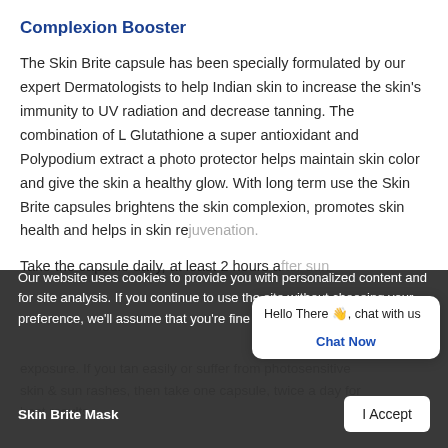Complexion Booster
The Skin Brite capsule has been specially formulated by our expert Dermatologists to help Indian skin to increase the skin's immunity to UV radiation and decrease tanning. The combination of L Glutathione a super antioxidant and Polypodium extract a photo protector helps maintain skin color and give the skin a healthy glow. With long term use the Skin Brite capsules brightens the skin complexion, promotes skin health and helps in skin rejuvenation.
Take the capsule daily, at least 2 hours after sun exposure. If you tan easily or suffer from photosensitive skin & sun rashes, then take one capsule, twice a day for best results.
[Figure (screenshot): Chat popup overlay with 'Hello There 👋, chat with us' message and 'Chat Now' button]
Our website uses cookies to provide you with personalized content and for site analysis. If you continue to use the site without choosing your preference, we'll assume that you're fine with cookies.
Skin Brite Mask